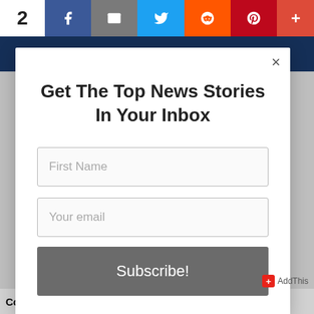[Figure (screenshot): Social share bar with count '2' and buttons for Facebook, Email, Twitter, Reddit, Pinterest, and plus]
Get The Top News Stories In Your Inbox
[Figure (screenshot): First Name text input field]
[Figure (screenshot): Your email text input field]
[Figure (screenshot): Subscribe! button]
AddThis
Court Forces Hospital To End Discrimination Against